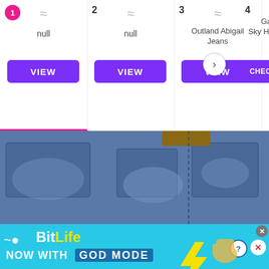[Figure (screenshot): E-commerce product comparison UI showing 4 numbered items. Items 1 and 2 labeled 'null' with VIEW buttons. Item 3 is 'Outland Abigail Jeans' with a VIEW button. Item 4 is 'Gap Sky Hi Rise' with CHECK PRICE button. All buttons are purple/violet.]
[Figure (photo): Close-up photo of back of blue denim jeans worn by a person, showing back pockets and belt loop detail against a white background.]
[Figure (screenshot): BitLife advertisement banner with cyan background. Text reads 'BitLife NOW WITH GOD MODE'. Features cartoon hand pointing with a thumbs up. Has close (X) and help (?) buttons.]